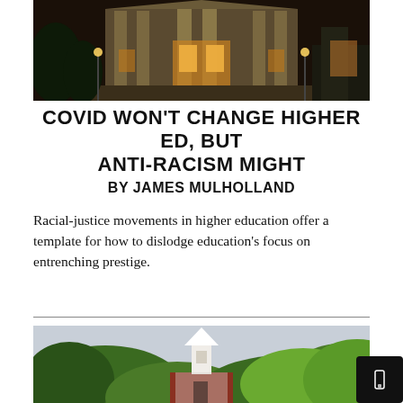[Figure (photo): Nighttime photo of a grand neoclassical university building with large columns, illuminated by warm lights]
COVID WON'T CHANGE HIGHER ED, BUT ANTI-RACISM MIGHT
BY JAMES MULHOLLAND
Racial-justice movements in higher education offer a template for how to dislodge education's focus on entrenching prestige.
[Figure (photo): Daytime photo of a church steeple rising above lush green trees on a university campus]